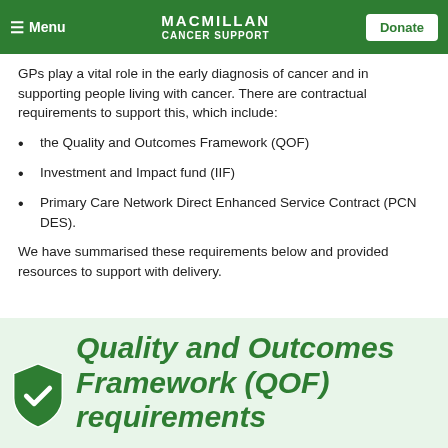Menu | MACMILLAN CANCER SUPPORT | Donate
GPs play a vital role in the early diagnosis of cancer and in supporting people living with cancer. There are contractual requirements to support this, which include:
the Quality and Outcomes Framework (QOF)
Investment and Impact fund (IIF)
Primary Care Network Direct Enhanced Service Contract (PCN DES).
We have summarised these requirements below and provided resources to support with delivery.
Quality and Outcomes Framework (QOF) requirements